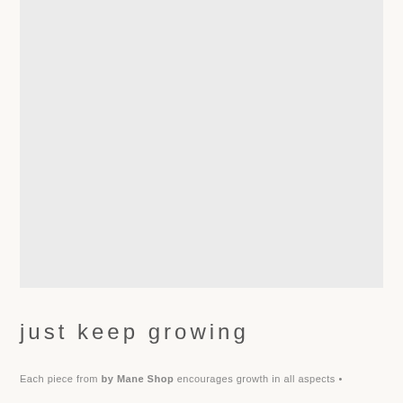[Figure (photo): Large light gray rectangular placeholder image area occupying the upper portion of the page]
just keep growing
Each piece from by Mane Shop encourages growth in all aspects •